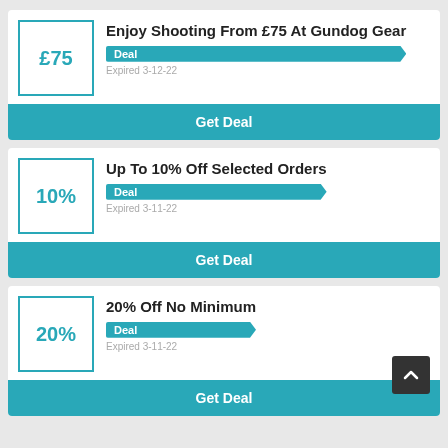Enjoy Shooting From £75 At Gundog Gear
Deal
Expired 3-12-22
Get Deal
Up To 10% Off Selected Orders
Deal
Expired 3-11-22
Get Deal
20% Off No Minimum
Deal
Expired 3-11-22
Get Deal